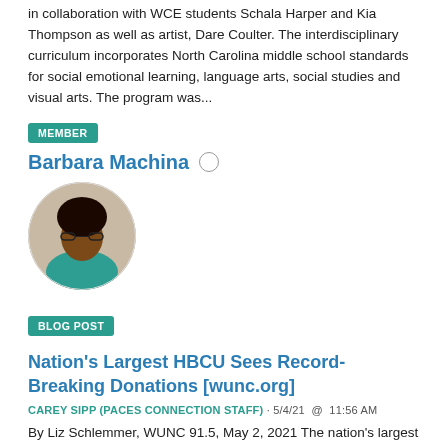in collaboration with WCE students Schala Harper and Kia Thompson as well as artist, Dare Coulter. The interdisciplinary curriculum incorporates North Carolina middle school standards for social emotional learning, language arts, social studies and visual arts. The program was...
MEMBER
Barbara Machina
[Figure (photo): Circular profile photo of Barbara Machina, a woman with curly hair and glasses, wearing a teal top.]
BLOG POST
Nation's Largest HBCU Sees Record-Breaking Donations [wunc.org]
CAREY SIPP (PACES CONNECTION STAFF) · 5/4/21  @  11:56 AM
By Liz Schlemmer, WUNC 91.5, May 2, 2021 The nation's largest HBCU is having a blockbuster year for fundraising. North Carolina A&T State University in Greensboro has raised $88 million since its fiscal year began